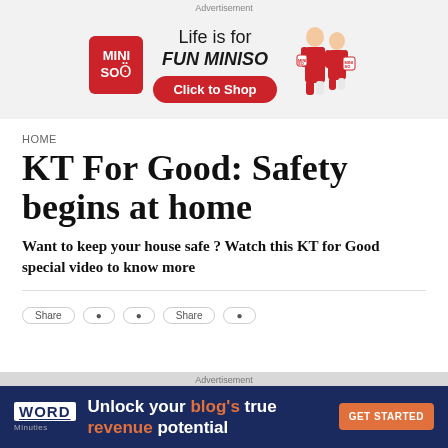[Figure (advertisement): MINISO advertisement banner with logo, tagline 'Life is for FUN MINISO', 'Click to Shop' button, and two people in red outfits holding MINISO bags]
HOME
KT For Good: Safety begins at home
Want to keep your house safe ? Watch this KT for Good special video to know more
[Figure (advertisement): WordMinuites advertisement: 'Unlock your blog's true revenue potential' with GET STARTED button]